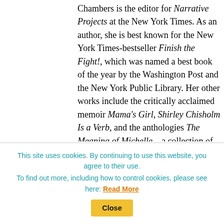Chambers is the editor for Narrative Projects at the New York Times. As an author, she is best known for the New York Times-bestseller Finish the Fight!, which was named a best book of the year by the Washington Post and the New York Public Library. Her other works include the critically acclaimed memoir Mama's Girl, Shirley Chisholm Is a Verb, and the anthologies The Meaning of Michelle—a collection of writers celebrating former first lady Michelle Obama—and Queen Bey: A Celebration of the
This site uses cookies. By continuing to use this website, you agree to their use. To find out more, including how to control cookies, please see here: Read More [Close]